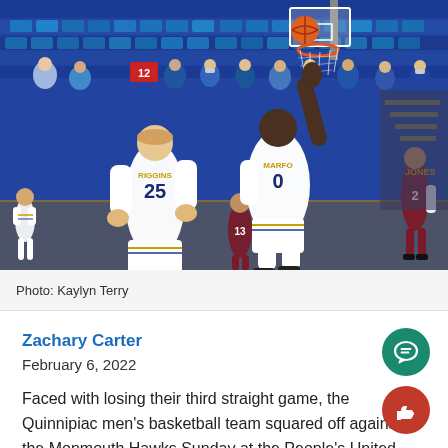[Figure (photo): Basketball game action photo showing Quinnipiac players including #25 and #0 (MARFO) going up for a dunk/layup against Monmouth Hawks (maroon uniforms). Blue arena seating visible in background. Players in white uniforms with blue and gold trim.]
Photo: Kaylyn Terry
Zachary Carter
February 6, 2022
Faced with losing their third straight game, the Quinnipiac men's basketball team squared off against the Monmouth Hawks Sunday at the People's United Center. Ultimately, the Bobcats were